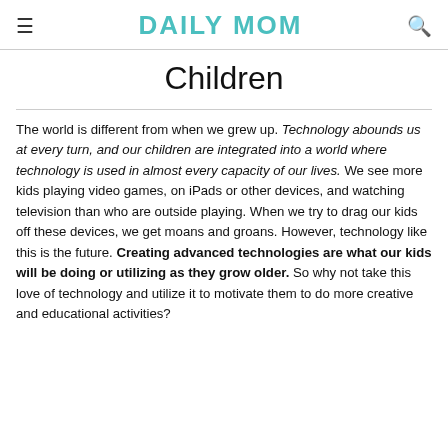DAILY MOM
Children
The world is different from when we grew up. Technology abounds us at every turn, and our children are integrated into a world where technology is used in almost every capacity of our lives. We see more kids playing video games, on iPads or other devices, and watching television than who are outside playing. When we try to drag our kids off these devices, we get moans and groans. However, technology like this is the future. Creating advanced technologies are what our kids will be doing or utilizing as they grow older. So why not take this love of technology and utilize it to motivate them to do more creative and educational activities?